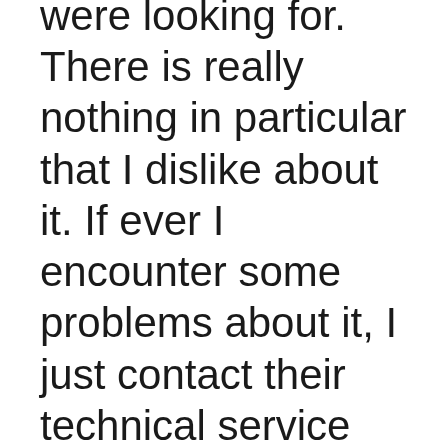were looking for. There is really nothing in particular that I dislike about it. If ever I encounter some problems about it, I just contact their technical service support team and they have always been very helpful in solving any issues regarding their product.